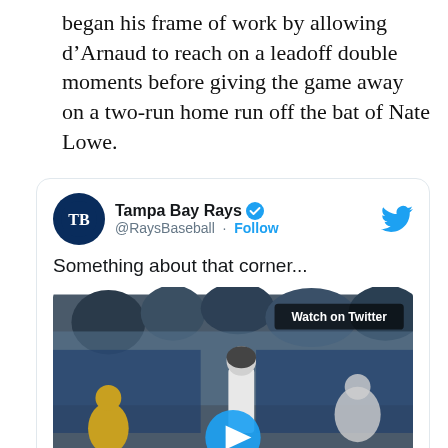began his frame of work by allowing d’Arnaud to reach on a leadoff double moments before giving the game away on a two-run home run off the bat of Nate Lowe.
[Figure (screenshot): Embedded tweet from @RaysBaseball (Tampa Bay Rays) with text 'Something about that corner...' and a video thumbnail showing a baseball player at the plate with fans celebrating in the background. A play button overlay and 'Watch on Twitter' label are visible.]